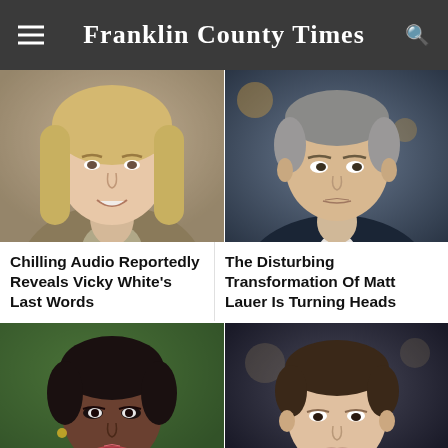Franklin County Times
[Figure (photo): Headshot of a middle-aged blonde woman smiling, wearing a khaki jacket]
[Figure (photo): Headshot of Matt Lauer, middle-aged man in a suit, looking to the side]
Chilling Audio Reportedly Reveals Vicky White's Last Words
The Disturbing Transformation Of Matt Lauer Is Turning Heads
[Figure (photo): Headshot of a young Black woman with makeup, wearing earrings]
[Figure (photo): Headshot of a smiling man with short dark hair in a tuxedo]